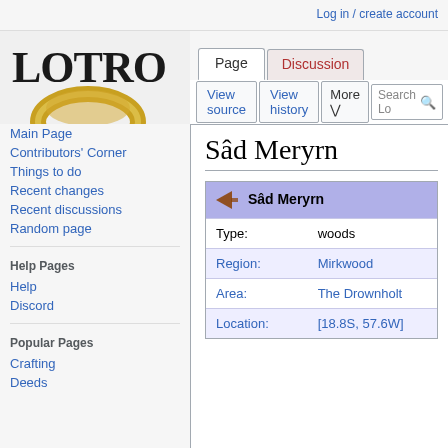Log in / create account
[Figure (logo): LOTRO-wiki.com logo with a golden ring]
Page  Discussion  View source  View history  More
Sâd Meryrn
Main Page
Main Page
Contributors' Corner
Things to do
Recent changes
Recent discussions
Random page
Help Pages
Help
Discord
Popular Pages
Crafting
Deeds
|  | Sâd Meryrn |
| --- | --- |
| Type: | woods |
| Region: | Mirkwood |
| Area: | The Drownholt |
| Location: | [18.8S, 57.6W] |